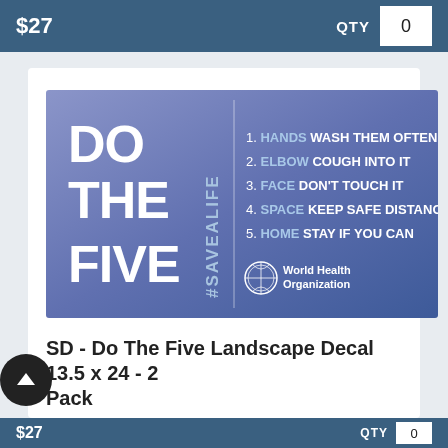$27   QTY   0
[Figure (infographic): WHO 'Do The Five' campaign poster with purple-blue gradient background. Left side shows large white bold text 'DO THE FIVE' with vertical '#SAVEALIFE' hashtag. Right side lists: 1. HANDS WASH THEM OFTEN, 2. ELBOW COUGH INTO IT, 3. FACE DON'T TOUCH IT, 4. SPACE KEEP SAFE DISTANCE, 5. HOME STAY IF YOU CAN. Bottom right shows WHO World Health Organization logo.]
SD - Do The Five Landscape Decal 13.5 x 24 - 2 Pack
$27   QTY   0